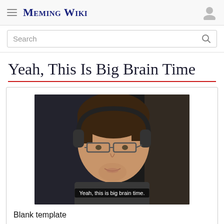Meming Wiki
Search
Yeah, This Is Big Brain Time
[Figure (photo): A man wearing headphones and glasses with subtitle text reading 'Yeah, this is big brain time.']
Blank template